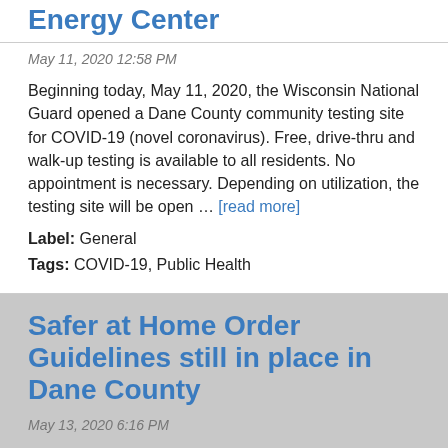Energy Center
May 11, 2020 12:58 PM
Beginning today, May 11, 2020, the Wisconsin National Guard opened a Dane County community testing site for COVID-19 (novel coronavirus). Free, drive-thru and walk-up testing is available to all residents. No appointment is necessary. Depending on utilization, the testing site will be open … [read more]
Label: General
Tags: COVID-19, Public Health
Safer at Home Order Guidelines still in place in Dane County
May 13, 2020 6:16 PM
From Public Health Madison & Dane County: Today, the Wisconsin Supreme Court voted to invalidate the Safer at Home order issued by the Wisconsin